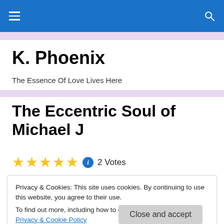K. Phoenix — site header with hamburger menu and search icon
K. Phoenix
The Essence Of Love Lives Here
The Eccentric Soul of Michael J
★★★★★ ⓘ 2 Votes
Privacy & Cookies: This site uses cookies. By continuing to use this website, you agree to their use. To find out more, including how to control cookies, see here: Privacy & Cookie Policy